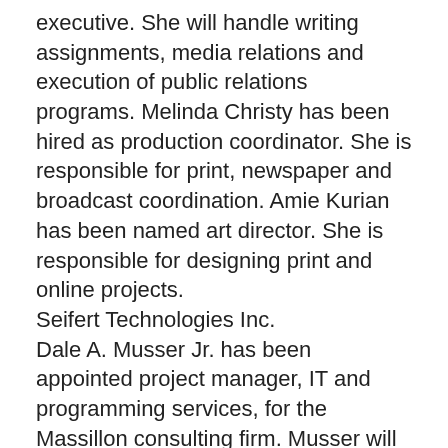executive. She will handle writing assignments, media relations and execution of public relations programs. Melinda Christy has been hired as production coordinator. She is responsible for print, newspaper and broadcast coordination. Amie Kurian has been named art director. She is responsible for designing print and online projects.
Seifert Technologies Inc.
Dale A. Musser Jr. has been appointed project manager, IT and programming services, for the Massillon consulting firm. Musser will run the company's IT and programming group.
Peoples Services Inc.
John T. Matheos has been named vice president of sales and marketing for the Canton-based firm. Peoples Services provides warehousing, specialized transportation services, packaging and distribution of chemicals and related items for Fortune 500 companies.